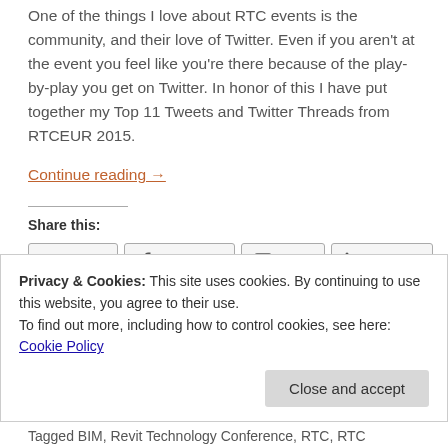One of the things I love about RTC events is the community, and their love of Twitter. Even if you aren't at the event you feel like you're there because of the play-by-play you get on Twitter. In honor of this I have put together my Top 11 Tweets and Twitter Threads from RTCEUR 2015.
Continue reading →
Share this:
Twitter | Facebook | Email | LinkedIn
Privacy & Cookies: This site uses cookies. By continuing to use this website, you agree to their use.
To find out more, including how to control cookies, see here: Cookie Policy
Close and accept
Tagged BIM, Revit Technology Conference, RTC, RTC